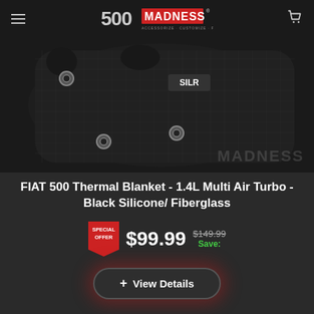500 MADNESS - ACCESSORIZE • CUSTOMIZE • PERSONALIZE
[Figure (photo): Close-up photo of a black silicone/fiberglass thermal blanket for FIAT 500 1.4L Multi Air Turbo, showing SILR branding label and metal grommets, with MADNESS watermark in lower right corner.]
FIAT 500 Thermal Blanket - 1.4L Multi Air Turbo - Black Silicone/ Fiberglass
SPECIAL OFFER $99.99 $149.99 Save:
+ View Details